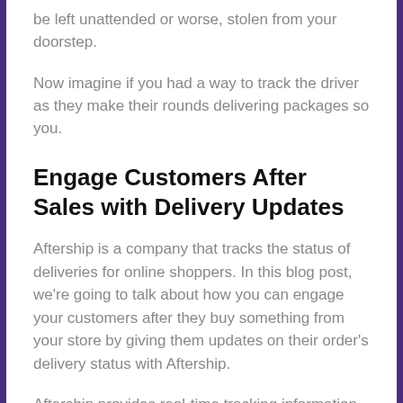be left unattended or worse, stolen from your doorstep.
Now imagine if you had a way to track the driver as they make their rounds delivering packages so you.
Engage Customers After Sales with Delivery Updates
Aftership is a company that tracks the status of deliveries for online shoppers. In this blog post, we're going to talk about how you can engage your customers after they buy something from your store by giving them updates on their order's delivery status with Aftership.
Aftership provides real-time tracking information